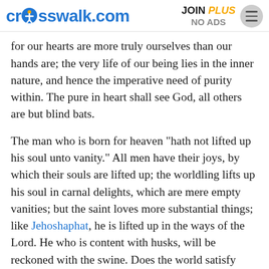crosswalk.com | JOIN PLUS NO ADS
for our hearts are more truly ourselves than our hands are; the very life of our being lies in the inner nature, and hence the imperative need of purity within. The pure in heart shall see God, all others are but blind bats.
The man who is born for heaven "hath not lifted up his soul unto vanity." All men have their joys, by which their souls are lifted up; the worldling lifts up his soul in carnal delights, which are mere empty vanities; but the saint loves more substantial things; like Jehoshaphat, he is lifted up in the ways of the Lord. He who is content with husks, will be reckoned with the swine. Does the world satisfy thee? Then thou hast thy reward and portion in this life; make much of it, for thou shalt know no other joy. "Nor sworn deceitfully." The saints are men of honour still